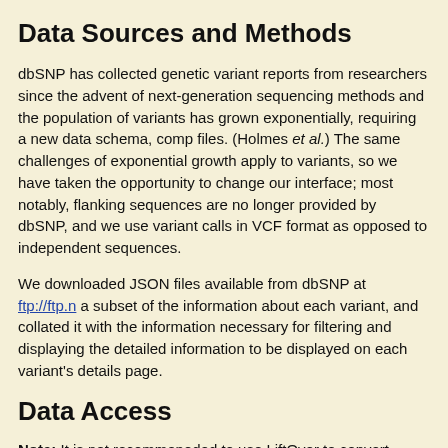Data Sources and Methods
dbSNP has collected genetic variant reports from researchers since the advent of next-generation sequencing methods and the population of variants has grown exponentially, requiring a new data schema, comp files. (Holmes et al.) The same challenges of exponential growth of variants, so we have taken the opportunity to change our interface; most notably, flanking sequences are no longer provided by dbSNP, and we use variant calls in VCF format as opposed to independent sequences.
We downloaded JSON files available from dbSNP at ftp://ftp.n a subset of the information about each variant, and collated it with the information necessary for filtering and displaying the detailed information to be displayed on each variant's details page.
Data Access
Note: It is not recommeneded to use LiftOver to convert SNPs; how to convert SNPs between assemblies can be found on the dbSNP page.
Since dbSNP has grown to include approximately 700 million variants, can cause the Table Browser and Data Integrator to time out,